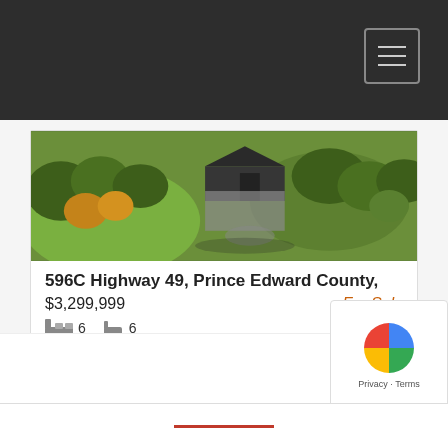Navigation header with menu button
[Figure (photo): Aerial drone photograph of a large house surrounded by trees and green lawn in Prince Edward County]
596C Highway 49, Prince Edward County,
$3,299,999    For Sale
6 bedrooms  6 bathrooms
Picton